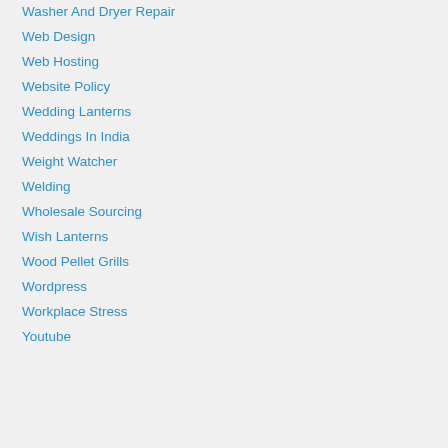Washer And Dryer Repair
Web Design
Web Hosting
Website Policy
Wedding Lanterns
Weddings In India
Weight Watcher
Welding
Wholesale Sourcing
Wish Lanterns
Wood Pellet Grills
Wordpress
Workplace Stress
Youtube